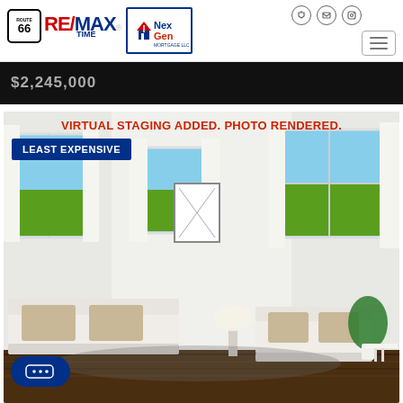[Figure (logo): RE/MAX Route 66 Time logo and NexGen Mortgage logo in header]
$2,245,000
[Figure (photo): Virtually staged living room with white sofas, large windows with white curtains, hardwood floors, artwork on wall, and plant. Overlaid with text: VIRTUAL STAGING ADDED. PHOTO RENDERED. and LEAST EXPENSIVE badge.]